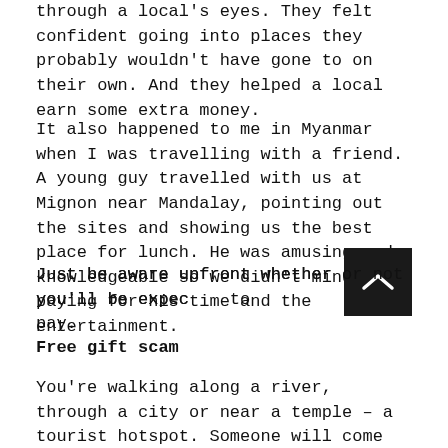through a local's eyes. They felt confident going into places they probably wouldn't have gone to on their own. And they helped a local earn some extra money.
It also happened to me in Myanmar when I was travelling with a friend. A young guy travelled with us at Mignon near Mandalay, pointing out the sites and showing us the best place for lunch. He was amusing and knowledgeable so we didn't mind paying for his time and the entertainment.
Just be aware upfront whether or not you'll be expected to pay.
Free gift scam
You're walking along a river, through a city or near a temple – a tourist hotspot. Someone will come up and hold out an offering. It could be a piece of wool tied around your wrist or a blessing, a final massage, a rose, because or they or